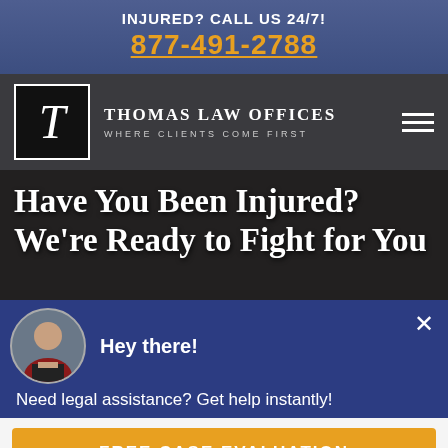INJURED? CALL US 24/7! 877-491-2788
[Figure (logo): Thomas Law Offices logo: stylized T in a bordered square, with firm name 'THOMAS LAW OFFICES' and tagline 'WHERE CLIENTS COME FIRST']
Have You Been Injured? We're Ready to Fight for You
Hey there!
Need legal assistance? Get help instantly!
FREE CASE EVALUATION